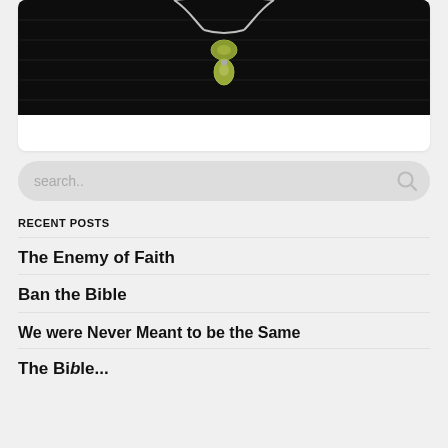[Figure (photo): Close-up photo of a person wearing a black top with a silver chain necklace featuring a yellow-green gemstone pendant]
search..
RECENT POSTS
The Enemy of Faith
Ban the Bible
We were Never Meant to be the Same
The Bible...